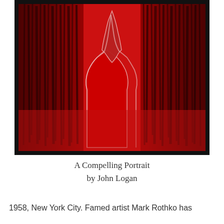[Figure (illustration): A dramatic red artwork showing the silhouette of a person's head and torso in profile against a deep red background with dark vertical brushstroke textures radiating outward. The figure is outlined in a lighter pinkish-white glow. The image is framed with a thick black border.]
A Compelling Portrait
by John Logan
1958, New York City. Famed artist Mark Rothko has